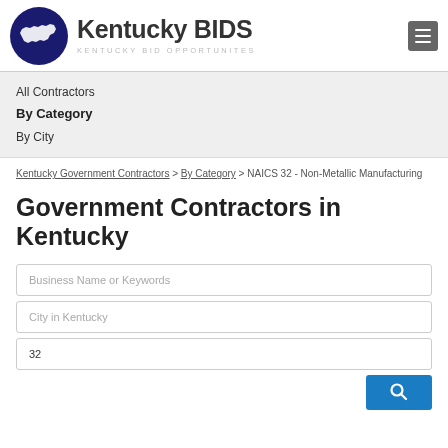Kentucky BIDS - Kentucky Bid Opportunites
All Contractors
By Category
By City
Kentucky Government Contractors > By Category > NAICS 32 - Non-Metallic Manufacturing
Government Contractors in Kentucky
Business Name or Keywords
City in Kentucky
32